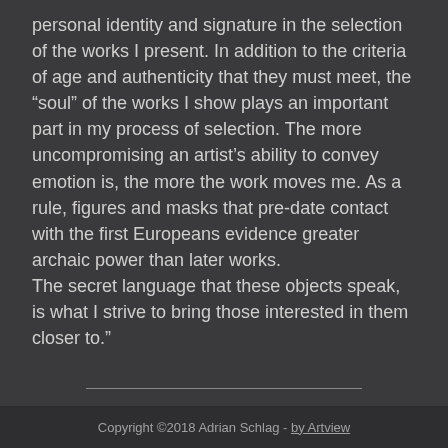personal identity and signature in the selection of the works I present. In addition to the criteria of age and authenticity that they must meet, the “soul” of the works I show plays an important part in my process of selection. The more uncompromising an artist’s ability to convey emotion is, the more the work moves me. As a rule, figures and masks that pre-date contact with the first Europeans evidence greater archaic power than later works. The secret language that these objects speak, is what I strive to bring those interested in them closer to.”
Copyright ©2018 Adrian Schlag - by Artview